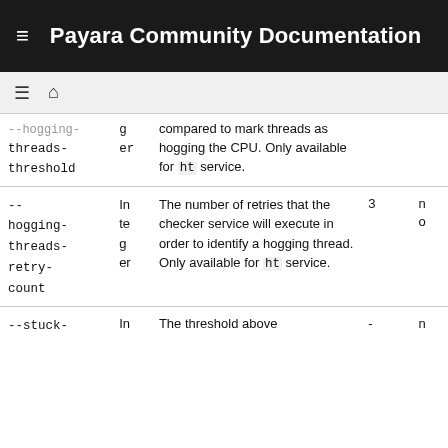Payara Community Documentation
| Parameter | Type | Description | Default | Req |
| --- | --- | --- | --- | --- |
| --hogging-threads-threshold | Integer | compared to mark threads as hogging the CPU. Only available for ht service. |  |  |
| --hogging-threads-retry-count | Integer | The number of retries that the checker service will execute in order to identify a hogging thread. Only available for ht service. | 3 | no |
| --stuck- | In | The threshold above | - | n |